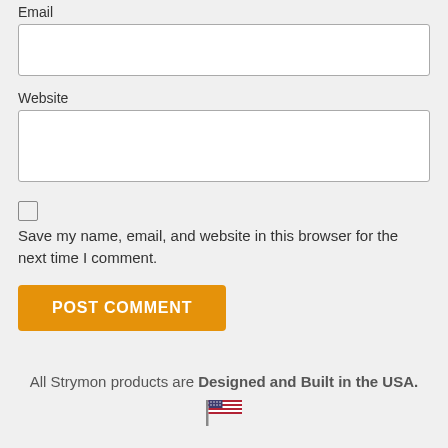Email
Website
Save my name, email, and website in this browser for the next time I comment.
POST COMMENT
All Strymon products are Designed and Built in the USA.
[Figure (illustration): US flag emoji icon]
[Figure (illustration): Hamburger menu icon (three horizontal lines)]